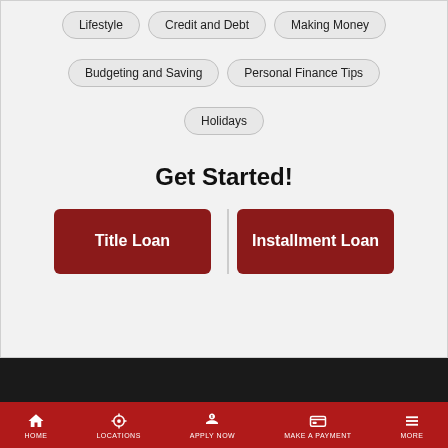Lifestyle
Credit and Debt
Making Money
Budgeting and Saving
Personal Finance Tips
Holidays
Get Started!
[Figure (screenshot): Two red buttons: Title Loan and Installment Loan]
HOME | LOCATIONS | APPLY NOW | MAKE A PAYMENT | MORE